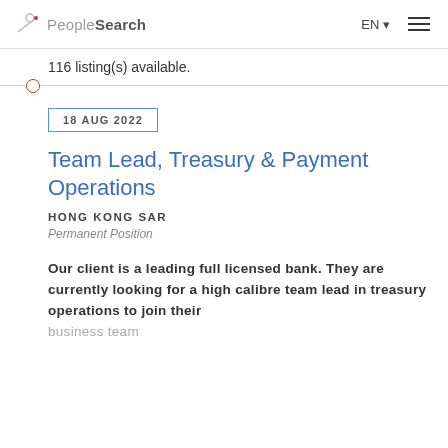PeopleSearch EN
116 listing(s) available.
18 AUG 2022
Team Lead, Treasury & Payment Operations
HONG KONG SAR
Permanent Position
Our client is a leading full licensed bank. They are currently looking for a high calibre team lead in treasury operations to join their business team